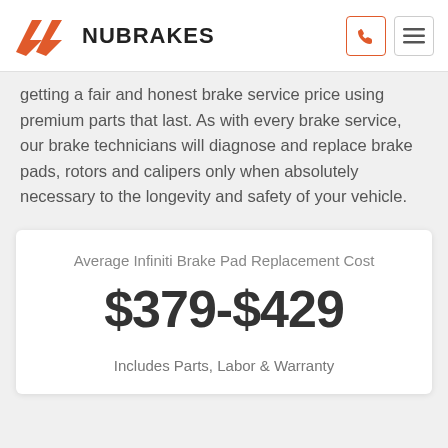NUBRAKES
getting a fair and honest brake service price using premium parts that last. As with every brake service, our brake technicians will diagnose and replace brake pads, rotors and calipers only when absolutely necessary to the longevity and safety of your vehicle.
Average Infiniti Brake Pad Replacement Cost
$379-$429
Includes Parts, Labor & Warranty